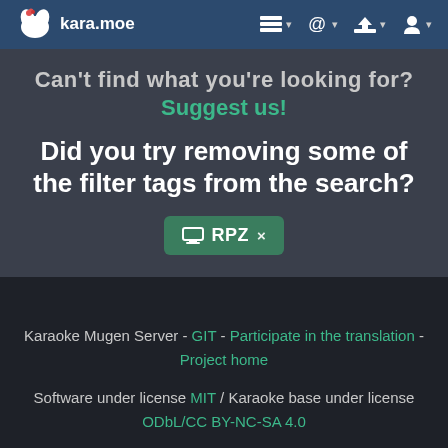kara.moe navigation bar with logo and icons
Can't find what you're looking for? Suggest us!
Did you try removing some of the filter tags from the search?
RPZ ×
Karaoke Mugen Server - GIT - Participate in the translation - Project home
Software under license MIT / Karaoke base under license ODbL/CC BY-NC-SA 4.0